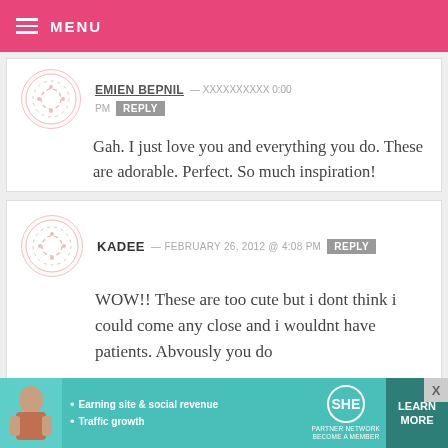MENU
Gah. I just love you and everything you do. These are adorable. Perfect. So much inspiration!
KADEE — FEBRUARY 26, 2012 @ 4:08 PM   REPLY
WOW!! These are too cute but i dont think i could come any close and i wouldnt have patients. Abvously you do
[Figure (infographic): SHE Partner Network advertisement banner with photo of woman, bullet points for earning site & social revenue and traffic growth, SHE logo, and LEARN MORE button]